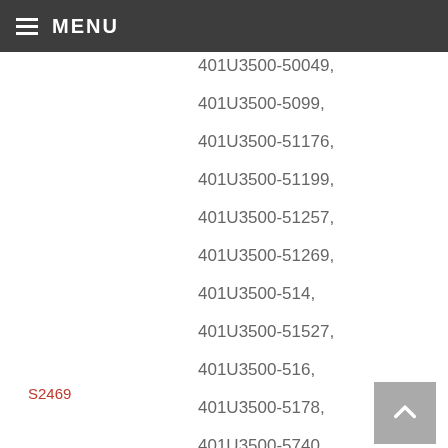MENU
401U3500-50049,
401U3500-5099,
401U3500-51176,
401U3500-51199,
401U3500-51257,
401U3500-51269,
401U3500-514,
401U3500-51527,
401U3500-516,
401U3500-5178,
401U3500-5740,
401U3500-5814,
401U3500-5860,
401U3500-5896,
401U3500-5898,
S2469
AerFilm LHR